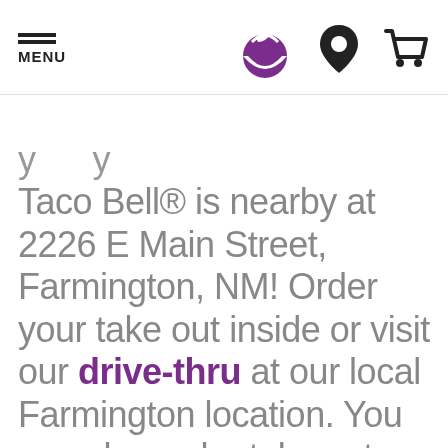MENU [Taco Bell logo] [location icon] [cart icon]
Taco Bell® is nearby at 2226 E Main Street, Farmington, NM! Order your take out inside or visit our drive-thru at our local Farmington location. You can also order take out online and skip our line at your local Taco Bell®. Now